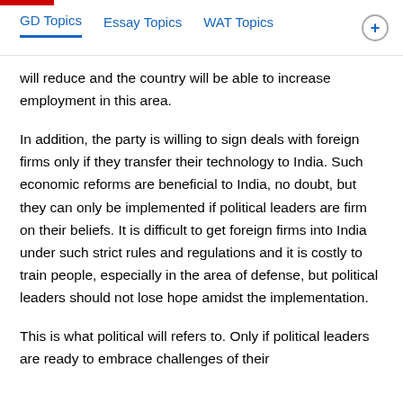GD Topics  Essay Topics  WAT Topics
will reduce and the country will be able to increase employment in this area.
In addition, the party is willing to sign deals with foreign firms only if they transfer their technology to India. Such economic reforms are beneficial to India, no doubt, but they can only be implemented if political leaders are firm on their beliefs. It is difficult to get foreign firms into India under such strict rules and regulations and it is costly to train people, especially in the area of defense, but political leaders should not lose hope amidst the implementation.
This is what political will refers to. Only if political leaders are ready to embrace challenges of their